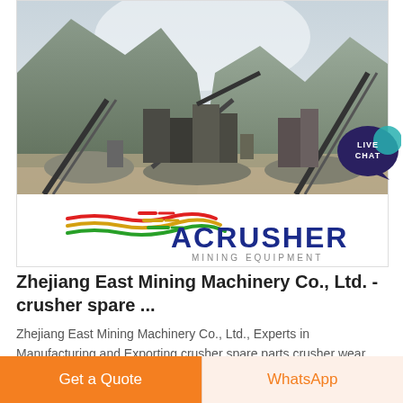[Figure (photo): Mining equipment / crusher facility in a mountainous valley with conveyor belts and machinery. Below the photo is the ACRUSHER MINING EQUIPMENT logo with colorful stripes (red, yellow, green).]
[Figure (illustration): Live Chat speech bubble icon in teal/dark blue with text LIVE CHAT, positioned at top right.]
Zhejiang East Mining Machinery Co., Ltd. - crusher spare ...
Zhejiang East Mining Machinery Co., Ltd., Experts in Manufacturing and Exporting crusher spare parts,crusher wear parts and 192 more Products. A Verified CN Gold ...
Get a Quote
WhatsApp